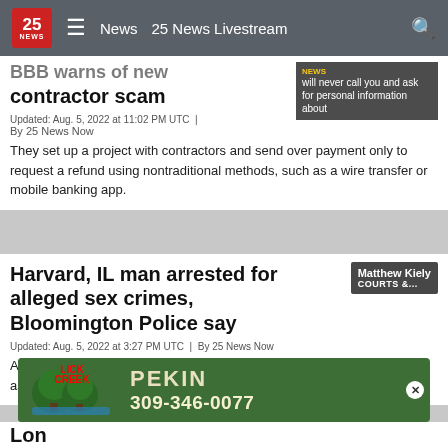25 NEWS | News | 25 News Livestream
BBB warns of new contractor scam
Updated: Aug. 5, 2022 at 11:02 PM UTC | By 25 News Now
They set up a project with contractors and send over payment only to request a refund using nontraditional methods, such as a wire transfer or mobile banking app.
Harvard, IL man arrested for alleged sex crimes, Bloomington Police say
Updated: Aug. 5, 2022 at 3:27 PM UTC | By 25 News Now
A man from Harvard, Illinois was arrested for predatory criminal sexual assault and aggravated sex abuse
[Figure (screenshot): Lick Creek advertisement banner: Lick Creek logo with trees, PEKIN text, phone number 309-346-0077]
Lon